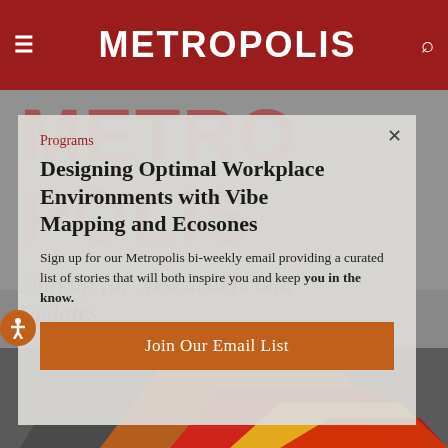METROPOLIS
[Figure (screenshot): Background photo of architectural/geometric shapes in gray, red, and yellow tones]
[Figure (other): Large semi-transparent red METROPOLIS logo watermark text over background image]
Programs
Designing Optimal Workplace Environments with Vibe Mapping and Ecosones
Sign up for Newsletters and Updates
Sign up for our Metropolis bi-weekly email providing a curated list of stories that will both inspire you and keep you in the know.
Join Our Email List